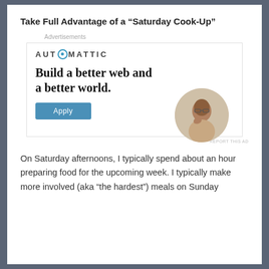Take Full Advantage of a “Saturday Cook-Up”
[Figure (screenshot): Automattic advertisement banner featuring the text 'Build a better web and a better world.' with an Apply button and a circular photo of a person thinking, plus a 'Report this Ad' link.]
On Saturday afternoons, I typically spend about an hour preparing food for the upcoming week. I typically make more involved (aka “the hardest”) meals on Sunday